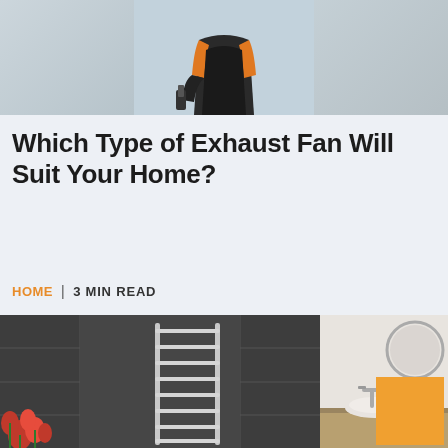[Figure (photo): Top portion of a person wearing an orange and black outfit, likely a technician or worker, cropped at torso level against a light grey/blue background]
Which Type of Exhaust Fan Will Suit Your Home?
HOME | 3 MIN READ
[Figure (photo): Left: A chrome towel warming rail/ladder rack mounted on a dark grey tiled wall with red flowers in bottom left corner. Right: A modern bathroom with a round mirror, vessel sink on a wooden vanity, and an orange decorative square element.]